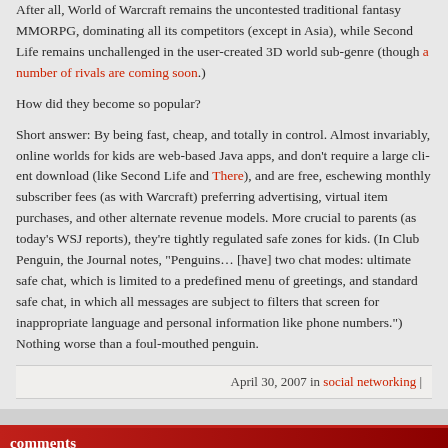After all, World of Warcraft remains the uncontested traditional fantasy MMORPG, dominating all its competitors (except in Asia), while Second Life remains unchallenged in the user-created 3D world sub-genre (though a number of rivals are coming soon.)
How did they become so popular?
Short answer: By being fast, cheap, and totally in control. Almost invariably, online worlds for kids are web-based Java apps, and don't require a large client download (like Second Life and There), and are free, eschewing monthly subscriber fees (as with Warcraft) preferring advertising, virtual item purchases, and other alternate revenue models. More crucial to parents (as today's WSJ reports), they're tightly regulated safe zones for kids. (In Club Penguin, the Journal notes, "Penguins… [have] two chat modes: ultimate safe chat, which is limited to a predefined menu of greetings, and standard safe chat, in which all messages are subject to filters that screen for inappropriate language and personal information like phone numbers.") Nothing worse than a foul-mouthed penguin.
April 30, 2007 in social networking |
comments
The comments to this entry are closed.